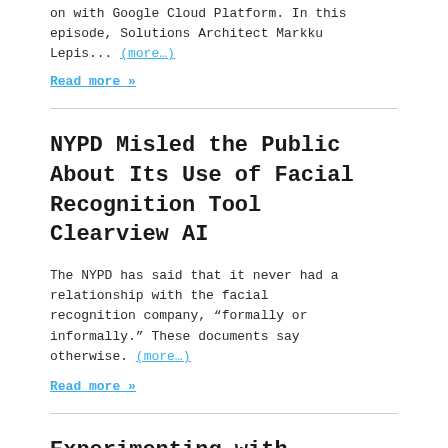on with Google Cloud Platform. In this episode, Solutions Architect Markku Lepis... (more…)
Read more »
NYPD Misled the Public About Its Use of Facial Recognition Tool Clearview AI
The NYPD has said that it never had a relationship with the facial recognition company, “formally or informally.” These documents say otherwise. (more…)
Read more »
Experimenting with…